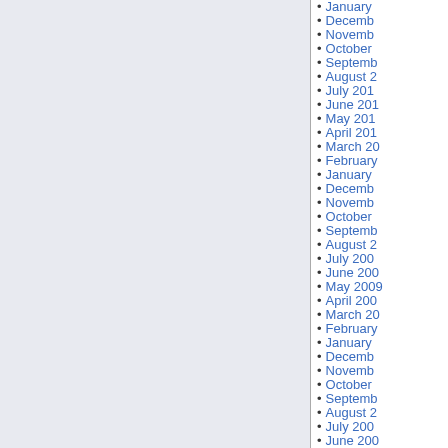[Figure (other): Light blue/lavender shaded rectangular panel on the left side of the page]
January
December
November
October
September
August 2
July 201
June 201
May 201
April 201
March 20
February
January
December
November
October
September
August 2
July 200
June 200
May 2009
April 200
March 20
February
January
December
November
October
September
August 2
July 200
June 200